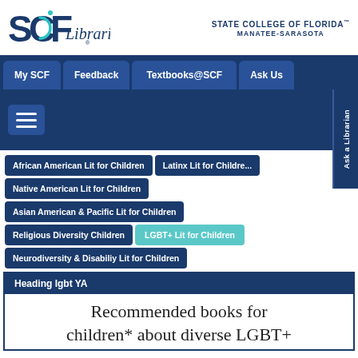[Figure (logo): SCF Libraries logo with stylized SCF letters and 'Libraries' text in cursive]
STATE COLLEGE OF FLORIDA. MANATEE-SARASOTA
My SCF | Feedback | Textbooks@SCF | Ask Us
[Figure (other): Dark blue banner with hamburger menu button and Ask a Librarian vertical tab on right]
African American Lit for Children
Latinx Lit for Children
Native American Lit for Children
Asian American & Pacific Lit for Children
Religious Diversity Children
LGBT+ Lit for Children
Neurodiversity & Disabiliy Lit for Children
Heading lgbt YA
Recommended books for children* about diverse LGBT+